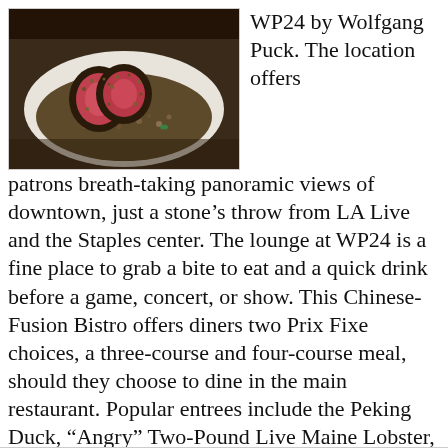[Figure (photo): A plate of food featuring sliced duck or beef with a seed/nut crust, pink inside, served on a bed of mixed grains and vegetables, on a white plate.]
WP24 by Wolfgang Puck. The location offers patrons breath-taking panoramic views of downtown, just a stone's throw from LA Live and the Staples center. The lounge at WP24 is a fine place to grab a bite to eat and a quick drink before a game, concert, or show. This Chinese-Fusion Bistro offers diners two Prix Fixe choices, a three-course and four-course meal, should they choose to dine in the main restaurant. Popular entrees include the Peking Duck, “Angry” Two-Pound Live Maine Lobster, and Whole Sea Bass Baked …
Learn More »